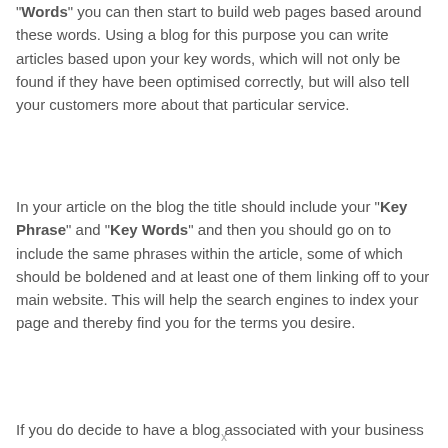"Words" you can then start to build web pages based around these words. Using a blog for this purpose you can write articles based upon your key words, which will not only be found if they have been optimised correctly, but will also tell your customers more about that particular service.
In your article on the blog the title should include your "Key Phrase" and "Key Words" and then you should go on to include the same phrases within the article, some of which should be boldened and at least one of them linking off to your main website. This will help the search engines to index your page and thereby find you for the terms you desire.
If you do decide to have a blog associated with your business
x